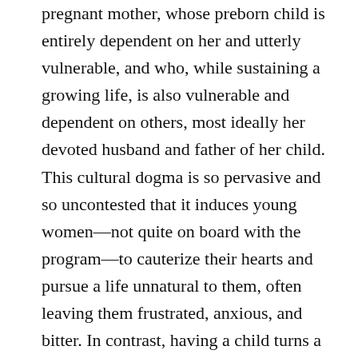pregnant mother, whose preborn child is entirely dependent on her and utterly vulnerable, and who, while sustaining a growing life, is also vulnerable and dependent on others, most ideally her devoted husband and father of her child. This cultural dogma is so pervasive and so uncontested that it induces young women—not quite on board with the program—to cauterize their hearts and pursue a life unnatural to them, often leaving them frustrated, anxious, and bitter. In contrast, having a child turns a woman's eyes off of herself and toward this tiny person—her person, created in her and nurtured by her. And for the believer, motherhood also forces